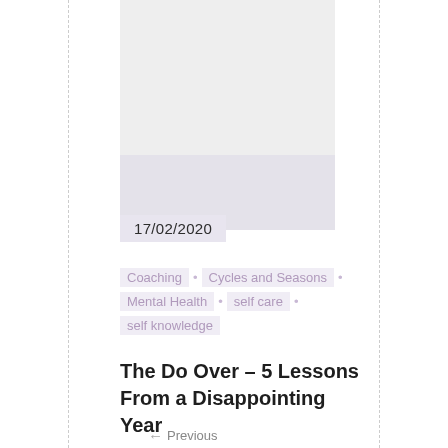[Figure (photo): Large light gray placeholder image block at top of page]
17/02/2020
Coaching · Cycles and Seasons · Mental Health · self care · self knowledge
The Do Over – 5 Lessons From a Disappointing Year
← Previous